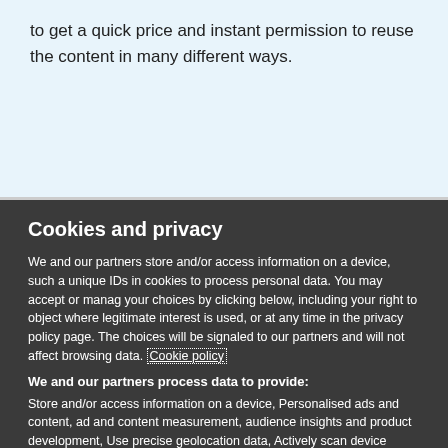to get a quick price and instant permission to reuse the content in many different ways.
Cookies and privacy
We and our partners store and/or access information on a device, such as unique IDs in cookies to process personal data. You may accept or manage your choices by clicking below, including your right to object where legitimate interest is used, or at any time in the privacy policy page. These choices will be signaled to our partners and will not affect browsing data. Cookie policy
We and our partners process data to provide:
Store and/or access information on a device, Personalised ads and content, ad and content measurement, audience insights and product development, Use precise geolocation data, Actively scan device characteristics for identification
List of Partners (vendors)